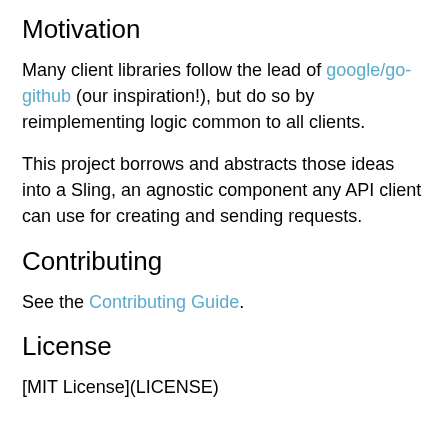Motivation
Many client libraries follow the lead of google/go-github (our inspiration!), but do so by reimplementing logic common to all clients.
This project borrows and abstracts those ideas into a Sling, an agnostic component any API client can use for creating and sending requests.
Contributing
See the Contributing Guide.
License
[MIT License](LICENSE)
*Note that all licence references and agreements mentioned in the sling README section above are relevant to that